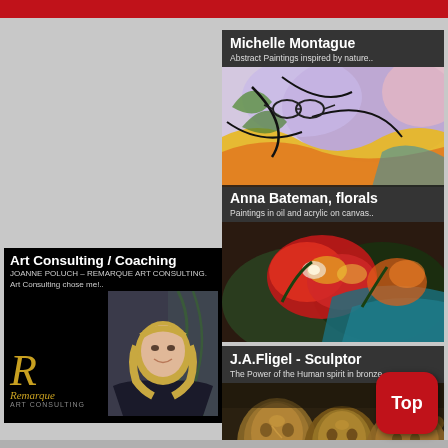[Figure (illustration): Red top navigation bar with gray header area on left side]
[Figure (illustration): Michelle Montague artist card with abstract colorful painting inspired by nature, dark overlay header with name and description]
[Figure (illustration): Anna Bateman florals artist card with painting in oil and acrylic on canvas, dark overlay header]
[Figure (illustration): Art Consulting / Coaching card by Joanne Poluch - Remarque Art Consulting with logo R in gold and person photo on black background]
[Figure (illustration): J.A.Fligel Sculptor card - The Power of the Human spirit in bronze, showing bronze sculpture faces, with red Top button overlay]